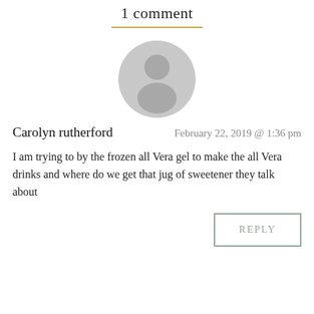1 comment
[Figure (illustration): Default user avatar: circular grey icon with silhouette of a person (head and shoulders)]
Carolyn rutherford  February 22, 2019 @ 1:36 pm
I am trying to by the frozen all Vera gel to make the all Vera drinks and where do we get that jug of sweetener they talk about
REPLY